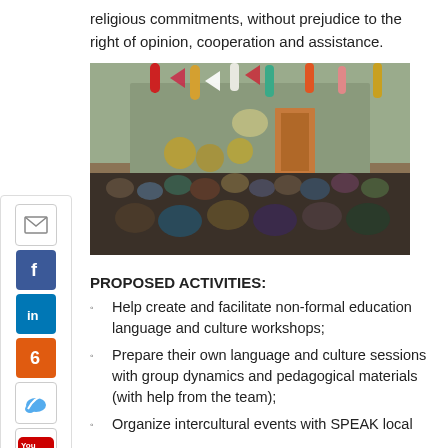religious commitments, without prejudice to the right of opinion, cooperation and assistance.
[Figure (photo): Group photo of approximately 20 young people indoors at a decorated room with colorful hanging paper decorations (streamers and tassels) from the ceiling.]
PROPOSED ACTIVITIES:
Help create and facilitate non-formal education language and culture workshops;
Prepare their own language and culture sessions with group dynamics and pedagogical materials (with help from the team);
Organize intercultural events with SPEAK local